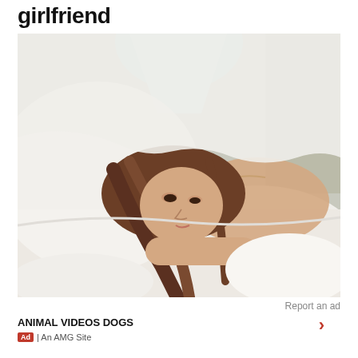girlfriend
[Figure (photo): Woman with brown hair lying in bed, looking sad, partially covered by white bedding, light blue canopy in background]
Report an ad
ANIMAL VIDEOS DOGS
Ad | An AMG Site